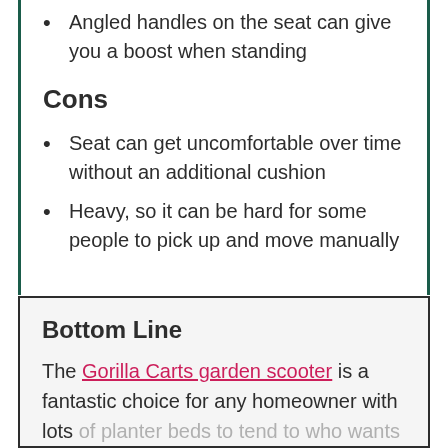Angled handles on the seat can give you a boost when standing
Cons
Seat can get uncomfortable over time without an additional cushion
Heavy, so it can be hard for some people to pick up and move manually
Bottom Line
The Gorilla Carts garden scooter is a fantastic choice for any homeowner with lots of planter beds to tend to who wants an